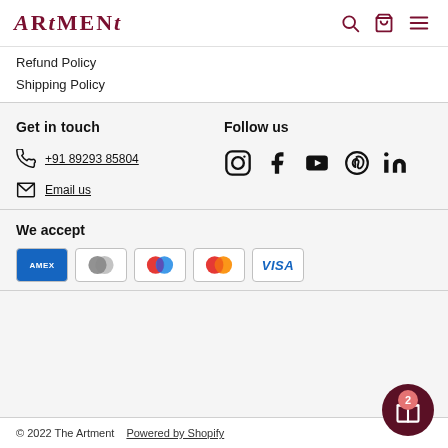ARTMENT
Refund Policy
Shipping Policy
Get in touch
+91 89293 85804
Email us
Follow us
[Figure (other): Social media icons: Instagram, Facebook, YouTube, Pinterest, LinkedIn]
We accept
[Figure (other): Payment icons: American Express, Diners Club, Maestro, Mastercard, Visa]
© 2022 The Artment   Powered by Shopify